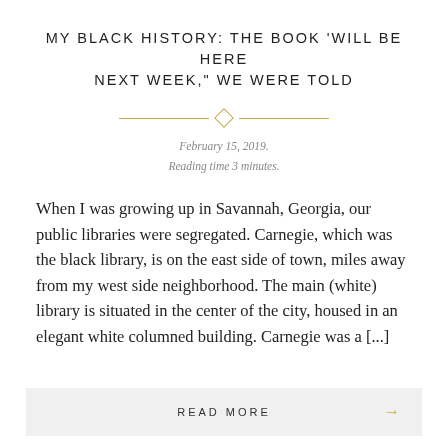MY BLACK HISTORY: THE BOOK 'WILL BE HERE NEXT WEEK," WE WERE TOLD
February 15, 2019.
Reading time 3 minutes.
When I was growing up in Savannah, Georgia, our public libraries were segregated. Carnegie, which was the black library, is on the east side of town, miles away from my west side neighborhood. The main (white) library is situated in the center of the city, housed in an elegant white columned building. Carnegie was a [...]
READ MORE